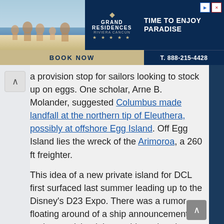[Figure (infographic): Grand Residences by Carlson advertisement banner showing family on beach, brand logo with diamond and five stars, tagline 'TIME TO ENJOY PARADISE', BOOK NOW button, phone number T. 888-215-4428, and ad icons]
a provision stop for sailors looking to stock up on eggs. One scholar, Arne B. Molander, suggested Columbus made landfall at the northern tip of Eleuthera, possibly at offshore Egg Island. Off Egg Island lies the wreck of the Arimoroa, a 260 ft freighter.
This idea of a new private island for DCL first surfaced last summer leading up to the Disney's D23 Expo. There was a rumor floating around of a ship announcement and a new island, but nothing other than a Disney Infinity virtual ship and island was announced during the expo.
Fast forward to March 2016, when Iger made the announcement of two additional cruise ships. Ok, maybe that original D23 rumor had some legs.